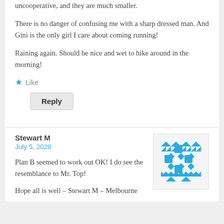uncooperative, and they are much smaller.
There is no danger of confusing me with a sharp dressed man. And Gini is the only girl I care about coming running!
Raining again. Should be nice and wet to hike around in the morning!
★ Like
Reply
Stewart M
July 5, 2020
[Figure (illustration): Teal/cyan geometric snowflake-like pattern avatar for Stewart M]
Plan B seemed to work out OK! I do see the resemblance to Mr. Top!
Hope all is well – Stewart M – Melbourne